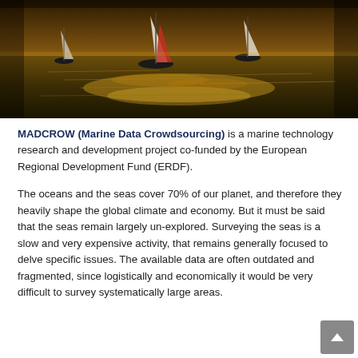[Figure (photo): Sailboats on sunlit water with golden reflections, photographed from a low angle at sunset or golden hour]
MADCROW (Marine Data Crowdsourcing) is a marine technology research and development project co-funded by the European Regional Development Fund (ERDF).
The oceans and the seas cover 70% of our planet, and therefore they heavily shape the global climate and economy. But it must be said that the seas remain largely un-explored. Surveying the seas is a slow and very expensive activity, that remains generally focused to delve specific issues. The available data are often outdated and fragmented, since logistically and economically it would be very difficult to survey systematically large areas.